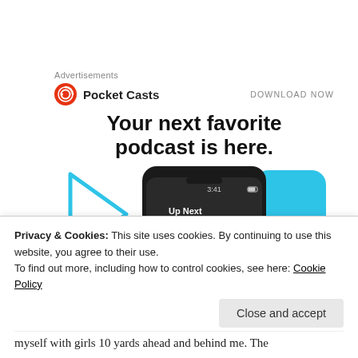Advertisements
[Figure (screenshot): Pocket Casts advertisement banner with logo, 'DOWNLOAD NOW' button, headline 'Your next favorite podcast is here.' and smartphone app screenshot showing podcast player UI with 'Up Next' queue]
Photo Credit Ali Engin Photography
Privacy & Cookies: This site uses cookies. By continuing to use this website, you agree to their use.
To find out more, including how to control cookies, see here: Cookie Policy
myself with girls 10 yards ahead and behind me. The